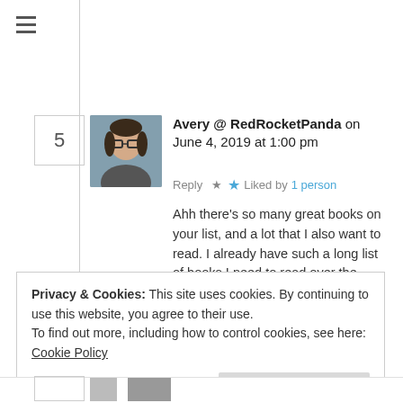[Figure (other): Three horizontal lines hamburger menu icon]
5
[Figure (photo): Avatar photo of a young woman with glasses]
Avery @ RedRocketPanda on June 4, 2019 at 1:00 pm
Reply  ★ Liked by 1 person
Ahh there's so many great books on your list, and a lot that I also want to read. I already have such a long list of books I need to read over the summer of YALC books and Hugo Awards, plus ARCs… backlist books… the list never ends haha.
Privacy & Cookies: This site uses cookies. By continuing to use this website, you agree to their use.
To find out more, including how to control cookies, see here: Cookie Policy
Close and accept